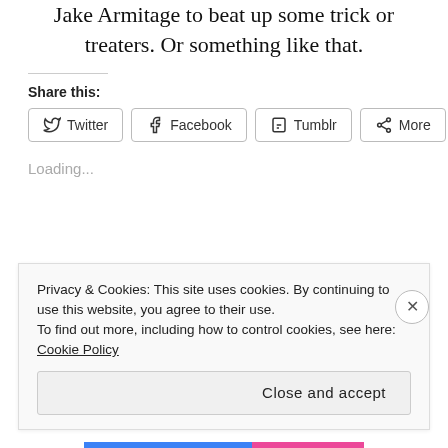Jake Armitage to beat up some trick or treaters. Or something like that.
Share this:
Twitter  Facebook  Tumblr  More
Loading...
Privacy & Cookies: This site uses cookies. By continuing to use this website, you agree to their use.
To find out more, including how to control cookies, see here: Cookie Policy
Close and accept